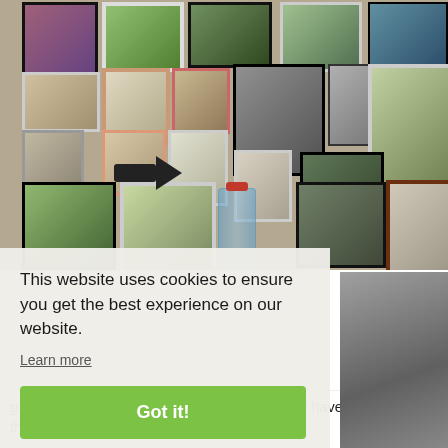[Figure (photo): A wall covered in various framed photos of people, animals, and landscapes, with a decorative arrow sign and a water jug visible.]
This website uses cookies to ensure you get the best experience on our website.
Learn more
Got it!
g as nice in a photo as it does for real. You will have to trust me that it